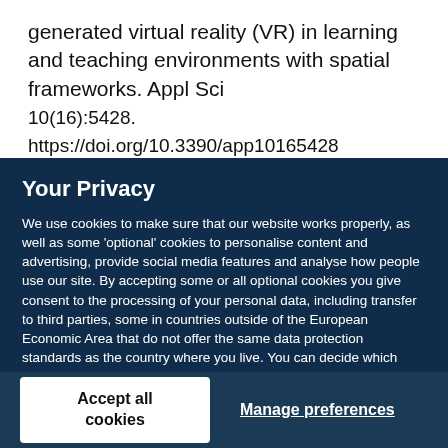generated virtual reality (VR) in learning and teaching environments with spatial frameworks. Appl Sci 10(16):5428. https://doi.org/10.3390/app10165428
Your Privacy
We use cookies to make sure that our website works properly, as well as some ‘optional’ cookies to personalise content and advertising, provide social media features and analyse how people use our site. By accepting some or all optional cookies you give consent to the processing of your personal data, including transfer to third parties, some in countries outside of the European Economic Area that do not offer the same data protection standards as the country where you live. You can decide which optional cookies to accept by clicking on ‘Manage Settings’, where you can also find more information about how your personal data is processed. Further information can be found in our privacy policy.
Accept all cookies
Manage preferences